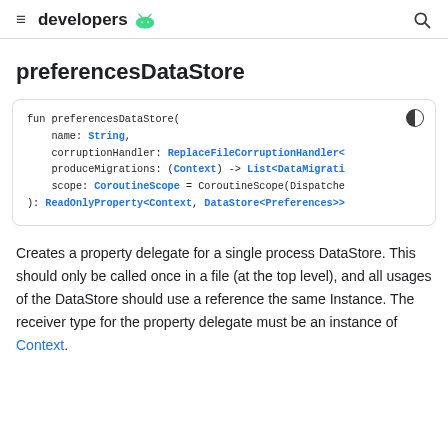developers [android logo]
preferencesDataStore
[Figure (screenshot): Code block showing Kotlin function signature: fun preferencesDataStore( name: String, corruptionHandler: ReplaceFileCorruptionHandler< produceMigrations: (Context) -> List<DataMigrati scope: CoroutineScope = CoroutineScope(Dispatche ): ReadOnlyProperty<Context, DataStore<Preferences>>]
Creates a property delegate for a single process DataStore. This should only be called once in a file (at the top level), and all usages of the DataStore should use a reference the same Instance. The receiver type for the property delegate must be an instance of Context.